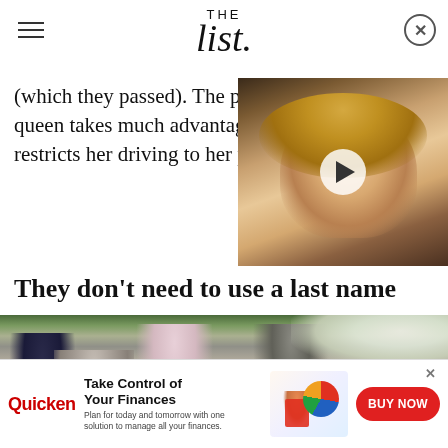THE List
(which they passed). The per queen takes much advantage restricts her driving to her pr
[Figure (photo): Video thumbnail showing a blonde woman, with a play button overlay]
They don't need to use a last name
[Figure (photo): Royal family members at a wedding, including Charles, Camilla, and Kate with Prince George]
[Figure (infographic): Quicken advertisement: Take Control of Your Finances. Plan for today and tomorrow with one solution to manage all your finances. BUY NOW button.]